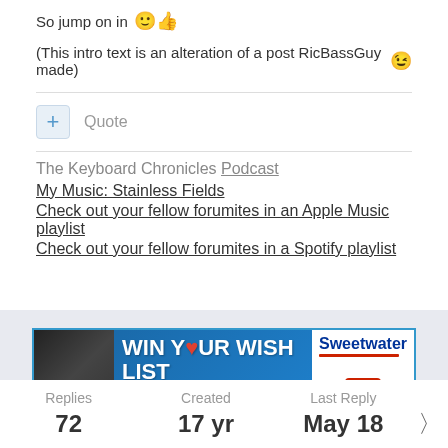So jump on in 🙂👍
(This intro text is an alteration of a post RicBassGuy made) 😉
+ Quote
The Keyboard Chronicles Podcast
My Music: Stainless Fields
Check out your fellow forumites in an Apple Music playlist
Check out your fellow forumites in a Spotify playlist
[Figure (other): Sweetwater advertisement banner: WIN YOUR WISH LIST - Make a wish. Make it happen.]
Replies   Created   Last Reply
72   17 yr   May 18